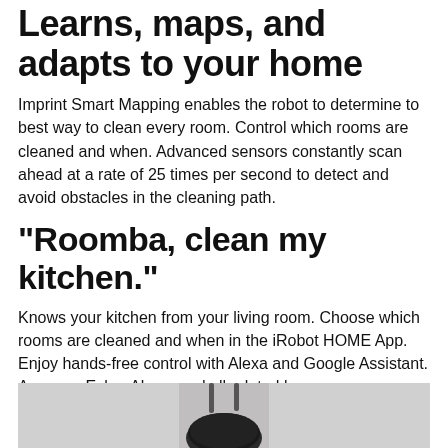Learns, maps, and adapts to your home
Imprint Smart Mapping enables the robot to determine to best way to clean every room. Control which rooms are cleaned and when. Advanced sensors constantly scan ahead at a rate of 25 times per second to detect and avoid obstacles in the cleaning path.
"Roomba, clean my kitchen."
Knows your kitchen from your living room. Choose which rooms are cleaned and when in the iRobot HOME App. Enjoy hands-free control with Alexa and Google Assistant. Amazon, Echo, Alexa, and all related logos are trademarks of Amazon.com or its affiliates. Google Home is a trademark of Google LLC.
[Figure (photo): Bottom portion of a Roomba robot vacuum on a light gray surface, viewed from above/front]